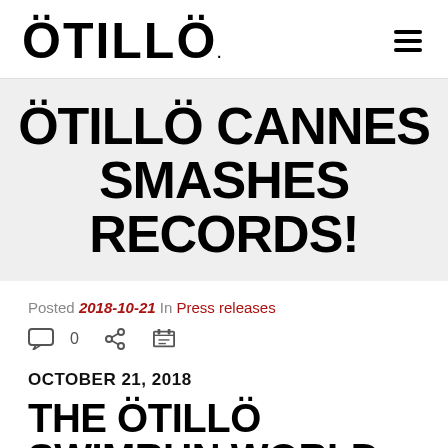ÖTILLÖ
ÖTILLÖ CANNES SMASHES RECORDS!
Posted 2018-10-21 In Press releases
OCTOBER 21, 2018
THE ÖTILLÖ SWIMRUN WORLD